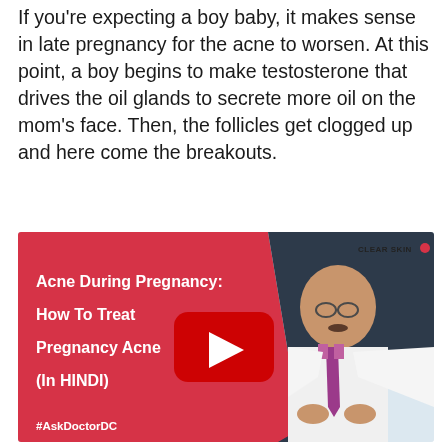If you're expecting a boy baby, it makes sense in late pregnancy for the acne to worsen. At this point, a boy begins to make testosterone that drives the oil glands to secrete more oil on the mom's face. Then, the follicles get clogged up and here come the breakouts.
[Figure (screenshot): YouTube video thumbnail for 'Acne During Pregnancy: How To Treat Pregnancy Acne (In HINDI)' from Clear Skin channel, featuring a doctor in a white coat and tie with a YouTube play button overlay. Hashtag #AskDoctorDC shown at bottom left.]